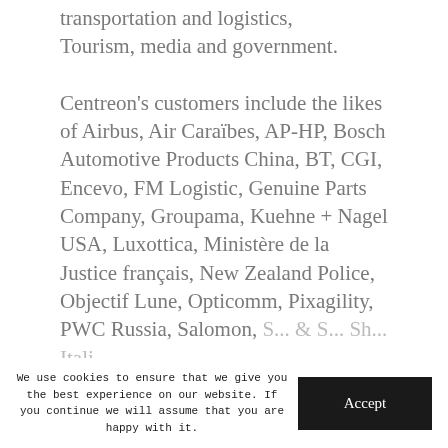transportation and logistics, Tourism, media and government.
Centreon's customers include the likes of Airbus, Air Caraïbes, AP-HP, Bosch Automotive Products China, BT, CGI, Encevo, FM Logistic, Genuine Parts Company, Groupama, Kuehne + Nagel USA, Luxottica, Ministère de la Justice français, New Zealand Police, Objectif Lune, Opticomm, Pixagility, PWC Russia, Salomon, S... & S... Sh... Ital...
We use cookies to ensure that we give you the best experience on our website. If you continue we will assume that you are happy with it.